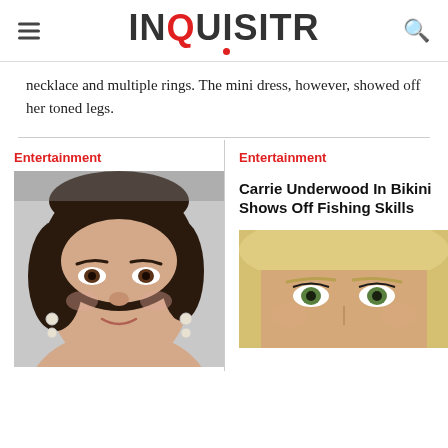INQUISITR
necklace and multiple rings. The mini dress, however, showed off her toned legs.
Entertainment
[Figure (photo): Close-up photo of a dark-haired woman at a red carpet event, smiling, wearing crystal earrings]
Entertainment
Carrie Underwood In Bikini Shows Off Fishing Skills
[Figure (photo): Close-up photo of a blonde woman with green eyes, appearing to be Carrie Underwood]